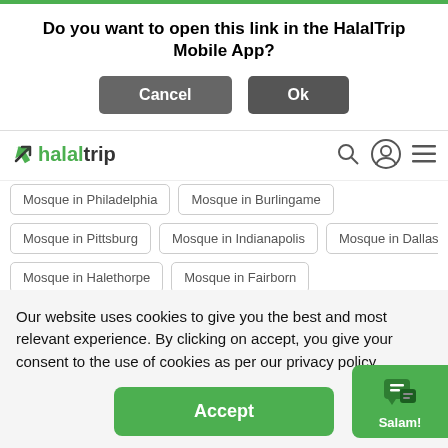Do you want to open this link in the HalalTrip Mobile App?
Cancel | Ok
[Figure (logo): HalalTrip logo with green arrow icon and text 'halaltrip' in green and dark]
Mosque in Philadelphia
Mosque in Burlingame
Mosque in Pittsburg
Mosque in Indianapolis
Mosque in Dallas
Mosque in Halethorpe
Mosque in Fairborn
Mosque in Walnut Creek
Mosque in Diamond Bar
Mosque in Grand Rapids
Mosque in Flint
Mosque in Miami
Mosque in Portland
Mosque in Latham
Our website uses cookies to give you the best and most relevant experience. By clicking on accept, you give your consent to the use of cookies as per our privacy policy.
Accept
[Figure (screenshot): Green chat widget with speech bubble icon and 'Salam!' label]